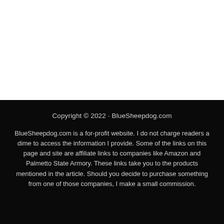Copyright © 2022 · BlueSheepdog.com
BlueSheepdog.com is a for-profit website. I do not charge readers a dime to access the information I provide. Some of the links on this page and site are affiliate links to companies like Amazon and Palmetto State Armory. These links take you to the products mentioned in the article. Should you decide to purchase something from one of those companies, I make a small commission.